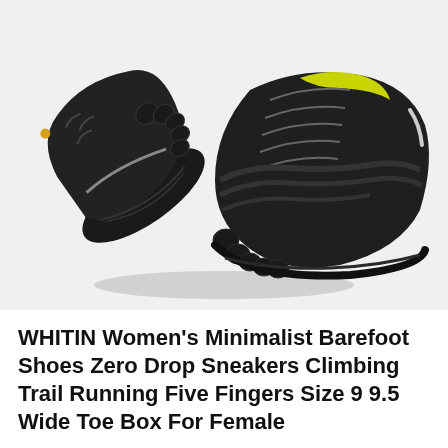[Figure (photo): Product photo of WHITIN women's minimalist barefoot shoes — two black five-finger sneakers with yellow insole lining, wide toe box, and patterned rubber sole, displayed against a light gray background.]
WHITIN Women's Minimalist Barefoot Shoes Zero Drop Sneakers Climbing Trail Running Five Fingers Size 9 9.5 Wide Toe Box For Female